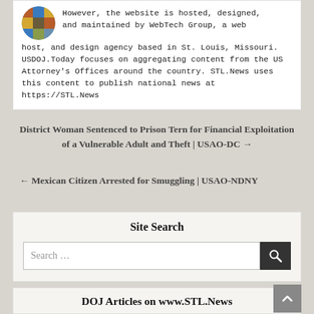However, the website is hosted, designed, and maintained by WebTech Group, a web host, and design agency based in St. Louis, Missouri. USDOJ.Today focuses on aggregating content from the US Attorney's Offices around the country. STL.News uses this content to publish national news at https://STL.News
District Woman Sentenced to Prison Tern for Financial Exploitation of a Vulnerable Adult and Theft | USAO-DC →
← Mexican Citizen Arrested for Smuggling | USAO-NDNY
Site Search
DOJ Articles on www.STL.News